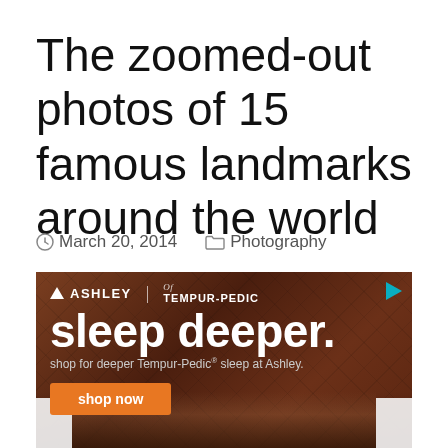The zoomed-out photos of 15 famous landmarks around the world
March 20, 2014   Photography
[Figure (photo): Advertisement for Ashley Furniture and Tempur-Pedic mattresses. Dark wood herringbone background with white text reading 'sleep deeper.' and 'shop for deeper Tempur-Pedic® sleep at Ashley.' with an orange 'shop now' button. Two people sitting on a bed visible at the bottom.]